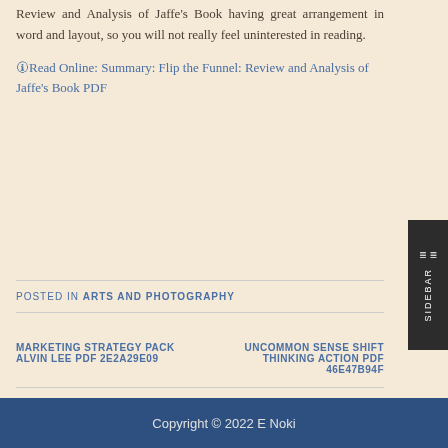Review and Analysis of Jaffe's Book having great arrangement in word and layout, so you will not really feel uninterested in reading.
Read Online: Summary: Flip the Funnel: Review and Analysis of Jaffe's Book PDF
POSTED IN ARTS AND PHOTOGRAPHY
MARKETING STRATEGY PACK ALVIN LEE PDF 2E2A29E09
UNCOMMON SENSE SHIFT THINKING ACTION PDF 46E47B94F
Copyright © 2022 E Noki